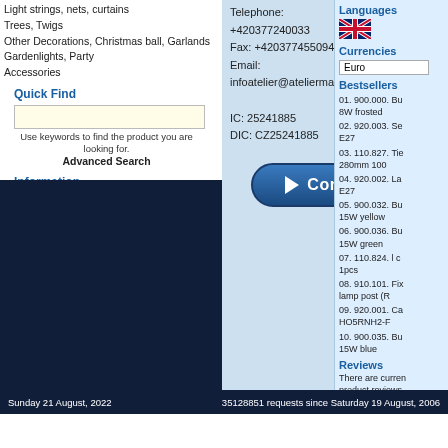Light strings, nets, curtains
Trees, Twigs
Other Decorations, Christmas ball, Garlands
Gardenlights, Party
Accessories
Quick Find
Use keywords to find the product you are looking for.
Advanced Search
Information
About us
Contact
Conditions of Use
Contact Us
Telephone:
+420377240033
Fax: +420377455094
Email:
infoatelier@ateliermaur.cz

IC: 25241885
DIC: CZ25241885
[Figure (other): Continue button with play icon]
Languages
[Figure (other): UK flag icon]
Currencies
Euro
Bestsellers
01. 900.000. Bu 8W frosted
02. 920.003. Se E27
03. 110.827. Tie 280mm 100
04. 920.002. La E27
05. 900.032. Bu 15W yellow
06. 900.036. Bu 15W green
07. 110.824. l c 1pcs
08. 910.101. Fix lamp post (R
09. 920.001. Ca HO5RNH2-F
10. 900.035. Bu 15W blue
Reviews
There are curren product reviews
Sunday 21 August, 2022          35128851 requests since Saturday 19 August, 2006